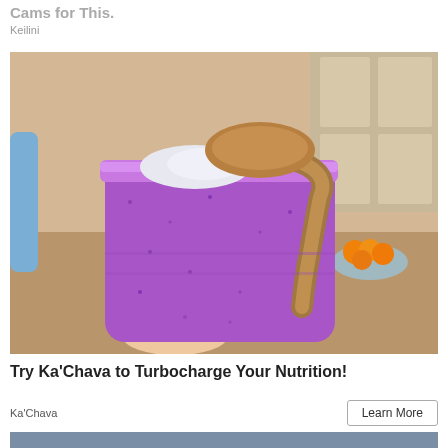Cams for This.
Keilini
[Figure (photo): A purple blueberry smoothie in a mason jar topped with white cream and a drizzle of brown nut butter, held by a hand. Kitchen background with oranges visible.]
Try Ka'Chava to Turbocharge Your Nutrition!
Ka'Chava
Learn More
[Figure (photo): Partial view of a second advertisement image, blue-gray color.]